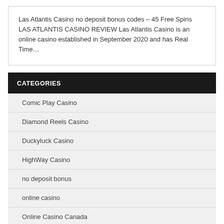Las Atlantis Casino no deposit bonus codes – 45 Free Spins LAS ATLANTIS CASINO REVIEW Las Atlantis Casino is an online casino established in September 2020 and has Real Time…
CATEGORIES
Comic Play Casino
Diamond Reels Casino
Duckyluck Casino
HighWay Casino
no deposit bonus
online casino
Online Casino Canada
Online Casino USA